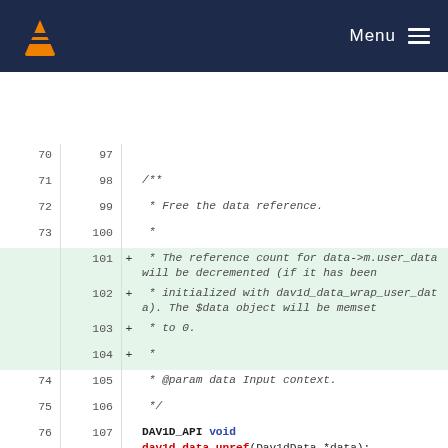VLC Media Player — Menu
[Figure (screenshot): Code diff view showing additions and removals in a C header file (dav1d_data.h). Lines 70-109 shown with old/new line numbers, diff markers (+/-), and syntax highlighting.]